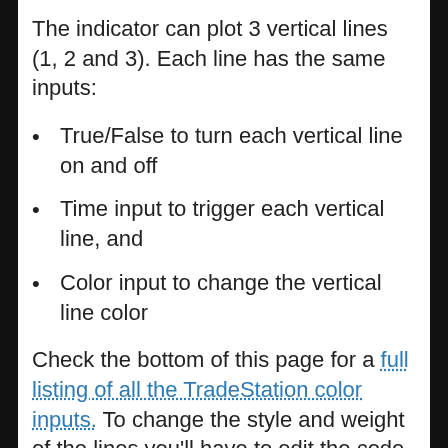The indicator can plot 3 vertical lines (1, 2 and 3). Each line has the same inputs:
True/False to turn each vertical line on and off
Time input to trigger each vertical line, and
Color input to change the vertical line color
Check the bottom of this page for a full listing of all the TradeStation color inputs. To change the style and weight of the lines you'll have to edit the code itself. The line...